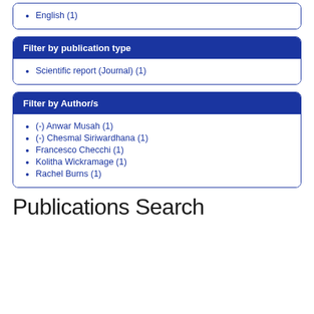English (1)
Filter by publication type
Scientific report (Journal) (1)
Filter by Author/s
(-) Anwar Musah (1)
(-) Chesmal Siriwardhana (1)
Francesco Checchi (1)
Kolitha Wickramage (1)
Rachel Burns (1)
Publications Search